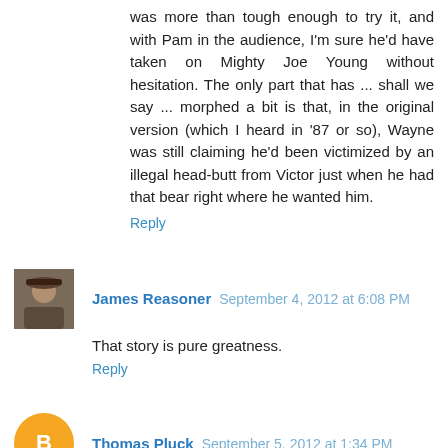was more than tough enough to try it, and with Pam in the audience, I'm sure he'd have taken on Mighty Joe Young without hesitation. The only part that has ... shall we say ... morphed a bit is that, in the original version (which I heard in '87 or so), Wayne was still claiming he'd been victimized by an illegal head-butt from Victor just when he had that bear right where he wanted him.
Reply
James Reasoner  September 4, 2012 at 6:08 PM
That story is pure greatness.
Reply
Thomas Pluck  September 5, 2012 at 1:34 PM
Wayne, that's a hell of a story. I've sparred with Keigo Kunihara (who fought in UFC 55) but you've got me beat! Keigo cracked my rib by accident.
Looks like we both don't know any better...
And for the record, Mighty Joe Young is one of my favorite